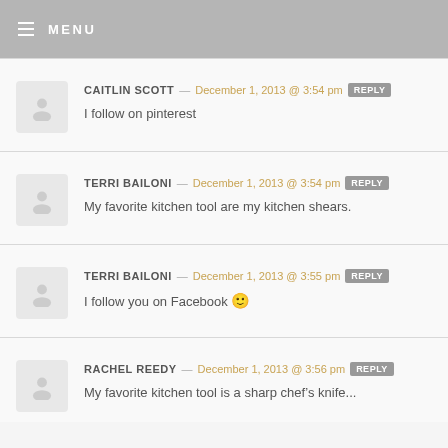MENU
CAITLIN SCOTT — December 1, 2013 @ 3:54 pm REPLY
I follow on pinterest
TERRI BAILONI — December 1, 2013 @ 3:54 pm REPLY
My favorite kitchen tool are my kitchen shears.
TERRI BAILONI — December 1, 2013 @ 3:55 pm REPLY
I follow you on Facebook 🙂
RACHEL REEDY — December 1, 2013 @ 3:56 pm REPLY
My favorite kitchen tool...